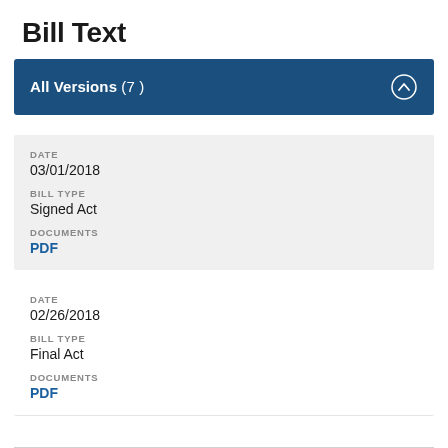Bill Text
All Versions (7)
DATE
03/01/2018
BILL TYPE
Signed Act
DOCUMENTS
PDF
DATE
02/26/2018
BILL TYPE
Final Act
DOCUMENTS
PDF